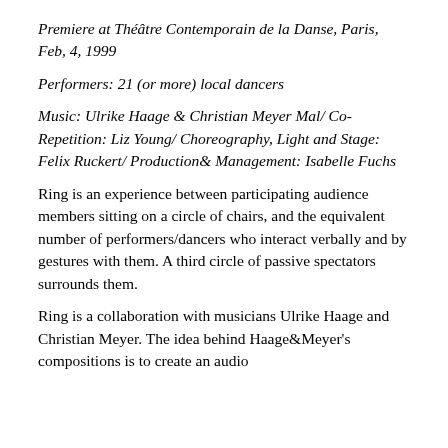Premiere at Théâtre Contemporain de la Danse, Paris, Feb, 4, 1999
Performers: 21 (or more) local dancers
Music: Ulrike Haage & Christian Meyer Mal/ Co-Repetition: Liz Young/ Choreography, Light and Stage: Felix Ruckert/ Production& Management: Isabelle Fuchs
Ring is an experience between participating audience members sitting on a circle of chairs, and the equivalent number of performers/dancers who interact verbally and by gestures with them. A third circle of passive spectators surrounds them.
Ring is a collaboration with musicians Ulrike Haage and Christian Meyer. The idea behind Haage&Meyer's compositions is to create an audio